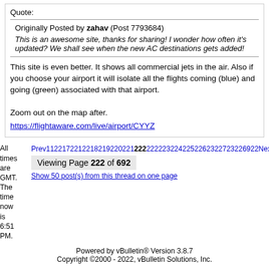Quote:
Originally Posted by zahav (Post 7793684)
This is an awesome site, thanks for sharing! I wonder how often it's updated? We shall see when the new AC destinations gets added!
This site is even better. It shows all commercial jets in the air. Also if you choose your airport it will isolate all the flights coming (blue) and going (green) associated with that airport.

Zoom out on the map after.
https://flightaware.com/live/airport/CYYZ
All times are GMT. The time now is 6:51 PM.
Prev1122172212218219220221222222323242252262322723226922Next
Viewing Page 222 of 692
Show 50 post(s) from this thread on one page
Powered by vBulletin® Version 3.8.7
Copyright ©2000 - 2022, vBulletin Solutions, Inc.